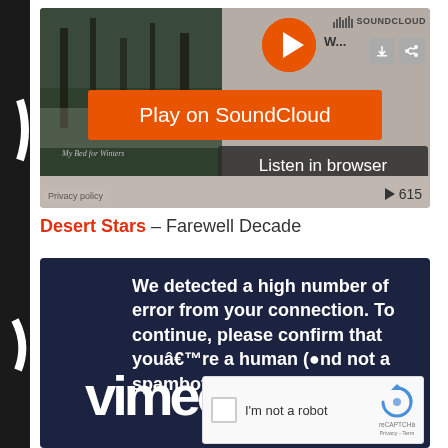[Figure (screenshot): SoundCloud embedded player widget showing album art, play button, orange 'Play on SoundCloud' banner, 'Listen in browser' button, privacy policy link, and play count of 615]
Desert Stars – Farewell Decade
[Figure (screenshot): Dark navy reCAPTCHA verification overlay with text: 'We detected a high number of error from your connection. To continue, please confirm that you are a human (and not a spambot).' Vimeo logo partially visible. reCAPTCHA checkbox widget with 'I'm not a robot' label and reCAPTCHA logo with Privacy and Terms links.]